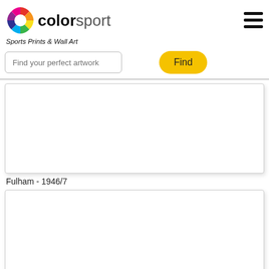[Figure (logo): Colorsport logo with multicolored pinwheel icon and text 'colorsport']
Sports Prints & Wall Art
[Figure (other): Search bar with placeholder 'Find your perfect artwork' and yellow 'Find' button]
[Figure (photo): White/blank image card for Fulham 1946/7]
Fulham - 1946/7
[Figure (photo): White/blank image card (second product)]